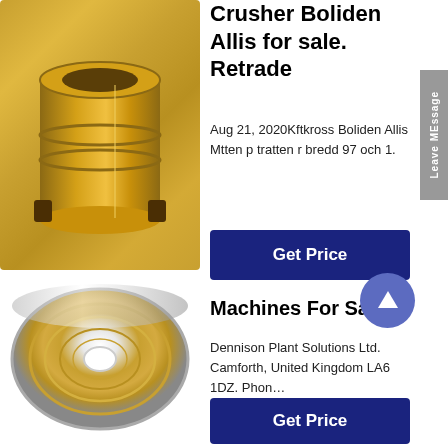[Figure (photo): Gold/bronze colored crusher bushing component, cylindrical metal part with stepped top]
Crusher Boliden Allis for sale. Retrade
Aug 21, 2020Kftkross Boliden Allis Mtten p tratten r bredd 97 och 1.
[Figure (other): Get Price button, dark blue rectangle]
[Figure (photo): Silver/gold metallic bowl liner, circular cone crusher part viewed from above showing concentric rings and central hole]
Machines For Sale
Dennison Plant Solutions Ltd. Camforth, United Kingdom LA6 1DZ. Phon...
[Figure (other): Get Price button, dark blue rectangle]